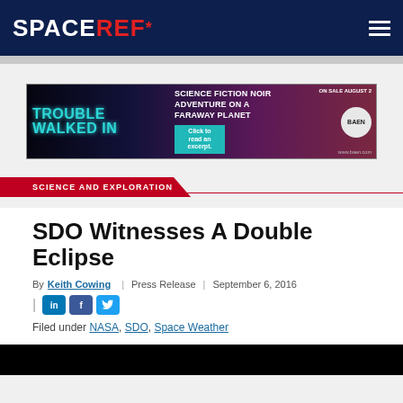SPACEREF*
[Figure (photo): Advertisement banner: TROUBLE WALKED IN - Science Fiction Noir Adventure On A Faraway Planet. Click to read an excerpt. On Sale August 2. www.baen.com]
SCIENCE AND EXPLORATION
SDO Witnesses A Double Eclipse
By Keith Cowing | Press Release | September 6, 2016
Filed under NASA, SDO, Space Weather
[Figure (photo): Black image area at the bottom of the page]